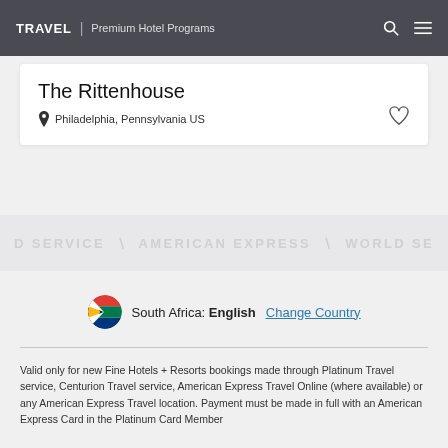TRAVEL | Premium Hotel Programs
The Rittenhouse
Philadelphia, Pennsylvania US
[Figure (infographic): American Express watermark banner with repeated text: D SERVICE, AMERICAN EXPRESS, WORLD SE]
South Africa: English  Change Country
Valid only for new Fine Hotels + Resorts bookings made through Platinum Travel service, Centurion Travel service, American Express Travel Online (where available) or any American Express Travel location. Payment must be made in full with an American Express Card in the Platinum Card Member